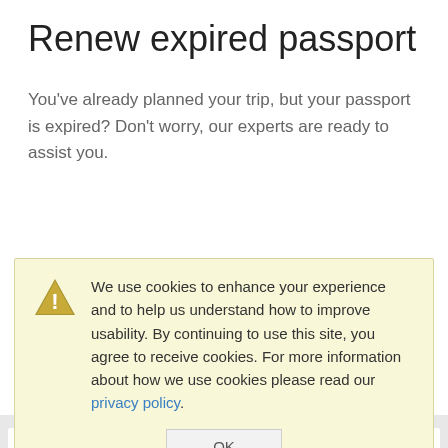Renew expired passport
You've already planned your trip, but your passport is expired? Don't worry, our experts are ready to assist you.
[Figure (illustration): Green baby face icon - circular outline with two dot eyes and a small curved sprout on top]
Get a passport for your child
We use cookies to enhance your experience and to help us understand how to improve usability. By continuing to use this site, you agree to receive cookies. For more information about how we use cookies please read our privacy policy.